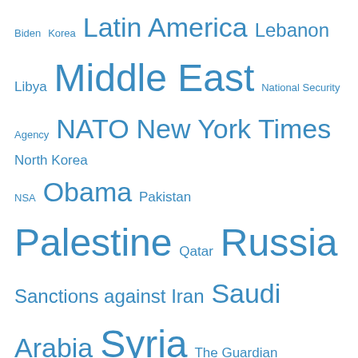[Figure (infographic): Tag cloud with various geopolitical terms in different font sizes, all in blue. Terms include Biden, Korea, Latin America, Lebanon, Libya, Middle East, National Security Agency, NATO, New York Times, North Korea, NSA, Obama, Pakistan, Palestine, Qatar, Russia, Sanctions against Iran, Saudi Arabia, Syria, The Guardian, Turkey, Twitter, UAE, UK, Ukraine, United Nations, United States, USA, Venezuela, Washington Post, West Bank, Yemen, Zionism.]
Recent Comments
Balthasar Gerards on WEF Proposes Globalized Plan t...
Balthasar Gerards on How We Have Been Misled About...